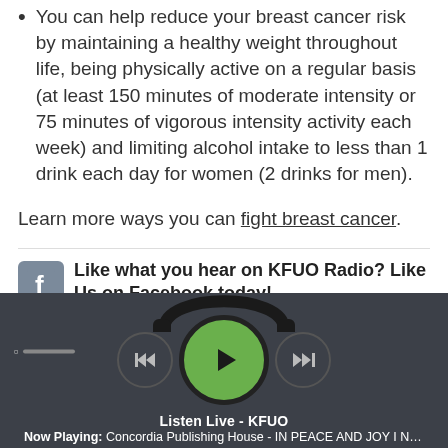You can help reduce your breast cancer risk by maintaining a healthy weight throughout life, being physically active on a regular basis (at least 150 minutes of moderate intensity or 75 minutes of vigorous intensity activity each week) and limiting alcohol intake to less than 1 drink each day for women (2 drinks for men).
Learn more ways you can fight breast cancer.
Like what you hear on KFUO Radio? Like Us on Facebook today!
[/tab][tab title="Learn More" ...www about Lutheran
[Figure (screenshot): Audio player bar with headphone icon, back/play/forward controls, volume slider, Listen Live - KFUO label, and now playing text: Concordia Publishing House - IN PEACE AND JOY I NOW DEPART]